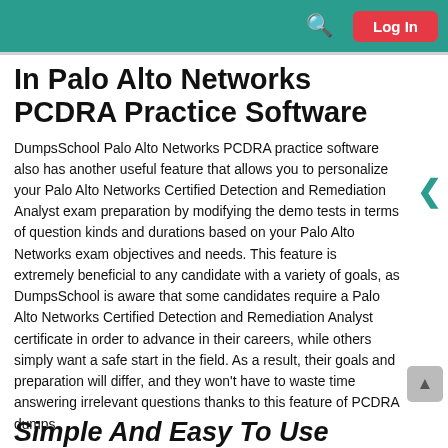Log In
In Palo Alto Networks PCDRA Practice Software
DumpsSchool Palo Alto Networks PCDRA practice software also has another useful feature that allows you to personalize your Palo Alto Networks Certified Detection and Remediation Analyst exam preparation by modifying the demo tests in terms of question kinds and durations based on your Palo Alto Networks exam objectives and needs. This feature is extremely beneficial to any candidate with a variety of goals, as DumpsSchool is aware that some candidates require a Palo Alto Networks Certified Detection and Remediation Analyst certificate in order to advance in their careers, while others simply want a safe start in the field. As a result, their goals and preparation will differ, and they won't have to waste time answering irrelevant questions thanks to this feature of PCDRA dumps.
Simple And Easy To Use